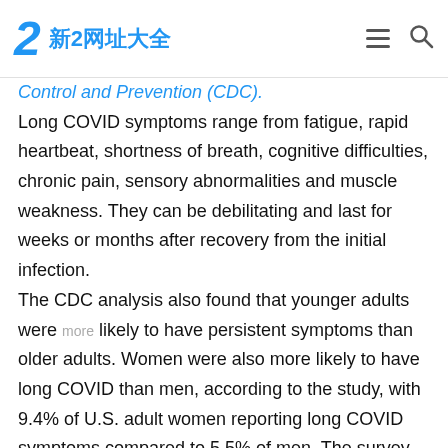新2网址大全
Control and Prevention (CDC). Long COVID symptoms range from fatigue, rapid heartbeat, shortness of breath, cognitive difficulties, chronic pain, sensory abnormalities and muscle weakness. They can be debilitating and last for weeks or months after recovery from the initial infection. The CDC analysis also found that younger adults were more likely to have persistent symptoms than older adults. Women were also more likely to have long COVID than men, according to the study, with 9.4% of U.S. adult women reporting long COVID symptoms compared to 5.5% of men. The survey found nearly 9% of Hispanic adults have long COVID, higher than non-Hispanic white and Black adults,